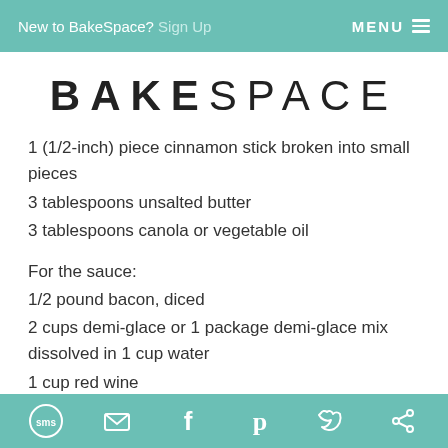New to BakeSpace? Sign Up   MENU
BAKESPACE
1 (1/2-inch) piece cinnamon stick broken into small pieces
3 tablespoons unsalted butter
3 tablespoons canola or vegetable oil
For the sauce:
1/2 pound bacon, diced
2 cups demi-glace or 1 package demi-glace mix dissolved in 1 cup water
1 cup red wine
1 cup pineapple juice, from canned pineapple tidbits
sms email facebook pinterest twitter other